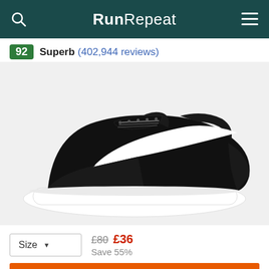RunRepeat
92 Superb (402,944 reviews)
[Figure (photo): Black Nike Tanjun running shoe with white swoosh and white sole, photographed on a white background from the side.]
Size £80 £36 Save 55%